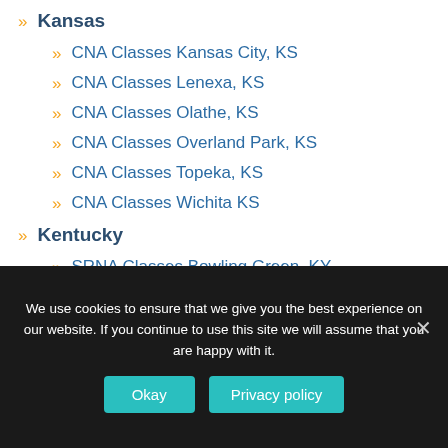Kansas
CNA Classes Kansas City, KS
CNA Classes Lenexa, KS
CNA Classes Olathe, KS
CNA Classes Overland Park, KS
CNA Classes Topeka, KS
CNA Classes Wichita KS
Kentucky
SRNA Classes Bowling Green, KY
SRNA Classes Georgetown, KY
SRNA Classes Lexington, KY
SRNA Classes Louisville, KY
Louisiana
We use cookies to ensure that we give you the best experience on our website. If you continue to use this site we will assume that you are happy with it.